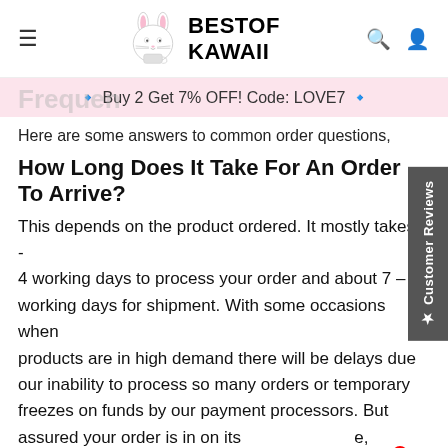≡  BESTOF KAWAII  🔍  👤
🔹 Buy 2 Get 7% OFF! Code: LOVE7 🔹
Here are some answers to common order questions,
How Long Does It Take For An Order To Arrive?
This depends on the product ordered. It mostly takes 3 - 4 working days to process your order and about 7 – 12 working days for shipment. With some occasions when products are in high demand there will be delays due our inability to process so many orders or temporary freezes on funds by our payment processors. But assured your order is in on its way, and will arrive, just email us and we can offer you order specific advice.